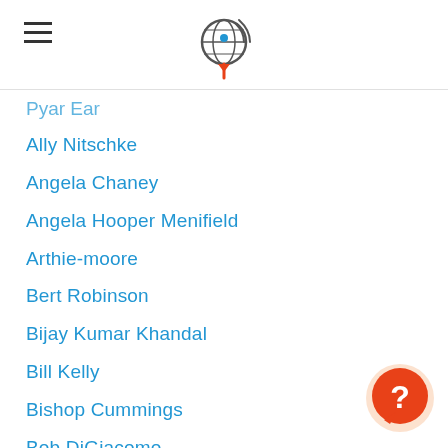[hamburger menu icon] [podcast logo]
Pyar Ear
Ally Nitschke
Angela Chaney
Angela Hooper Menifield
Arthie-moore
Bert Robinson
Bijay Kumar Khandal
Bill Kelly
Bishop Cummings
Bob DiGiacomo
Brandon Souba
Building Success Habits
Business Podcasting Made Easy
Cedrick Lafleur
Celia Powell
Charles George
Crystal Y Davis
Damian Johnson
[Figure (illustration): Orange circular help/chat button with question mark icon, bottom right corner]